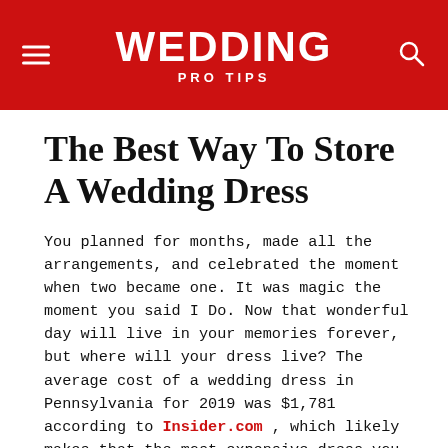WEDDING PRO TIPS
The Best Way To Store A Wedding Dress
You planned for months, made all the arrangements, and celebrated the moment when two became one. It was magic the moment you said I Do. Now that wonderful day will live in your memories forever, but where will your dress live? The average cost of a wedding dress in Pennsylvania for 2019 was $1,781 according to Insider.com, which likely makes that the most expensive dress you ever wear just one time. So it only makes logical sense to think about what you would do with the dress after your wedding day. While there are 886,000,000 search results on google stemming from the search What do you do with a wedding dress after the wedding, it would remain logical to think that you will be emotionally attached to your dress for some time after your wedding, not wanting to do anything to tarnish the memory of your beautiful wedding day. Reality though is that something has to be done